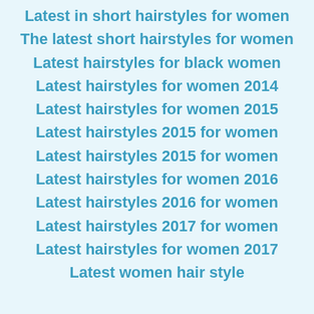Latest in short hairstyles for women
The latest short hairstyles for women
Latest hairstyles for black women
Latest hairstyles for women 2014
Latest hairstyles for women 2015
Latest hairstyles 2015 for women
Latest hairstyles 2015 for women
Latest hairstyles for women 2016
Latest hairstyles 2016 for women
Latest hairstyles 2017 for women
Latest hairstyles for women 2017
Latest women hair style